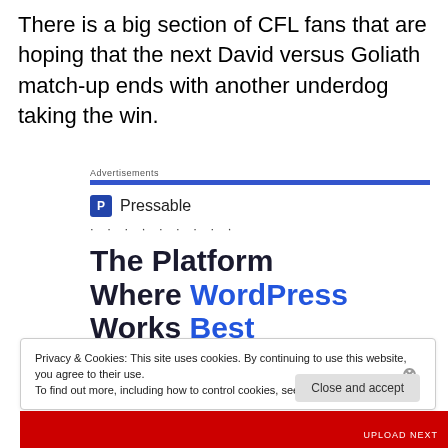There is a big section of CFL fans that are hoping that the next David versus Goliath match-up ends with another underdog taking the win.
[Figure (screenshot): Advertisement for Pressable hosting. Shows 'Advertisements' label with blue bar, Pressable logo with P icon and dotted separator, and large bold headline 'The Platform Where WordPress Works Best' with 'WordPress' and 'Best' in blue.]
Privacy & Cookies: This site uses cookies. By continuing to use this website, you agree to their use.
To find out more, including how to control cookies, see here: Cookie Policy
Close and accept